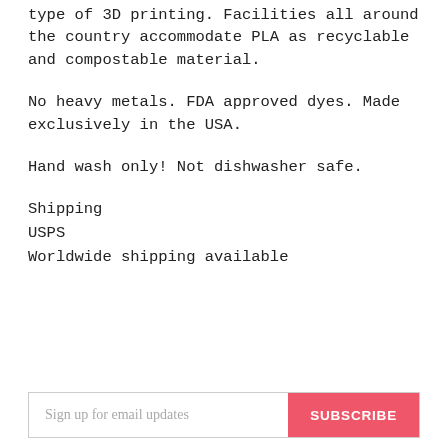type of 3D printing. Facilities all around the country accommodate PLA as recyclable and compostable material.
No heavy metals. FDA approved dyes. Made exclusively in the USA.
Hand wash only! Not dishwasher safe.
Shipping
USPS
Worldwide shipping available
Sign up for email updates  SUBSCRIBE